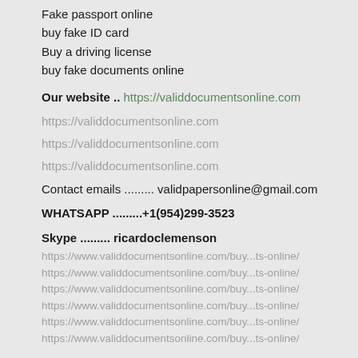Fake passport online
buy fake ID card
Buy a driving license
buy fake documents online
Our website .. https://validdocumentsonline.com
https://validdocumentsonline.com
https://validdocumentsonline.com
https://validdocumentsonline.com
Contact emails ......... validpapersonline@gmail.com
WHATSAPP .........+1(954)299-3523
Skype ......... ricardoclemenson
https://www.validdocumentsonline.com/buy...ts-online/
https://www.validdocumentsonline.com/buy...ts-online/
https://www.validdocumentsonline.com/buy...ts-online/
https://www.validdocumentsonline.com/buy...ts-online/
https://www.validdocumentsonline.com/buy...ts-online/
https://www.validdocumentsonline.com/buy...ts-online/